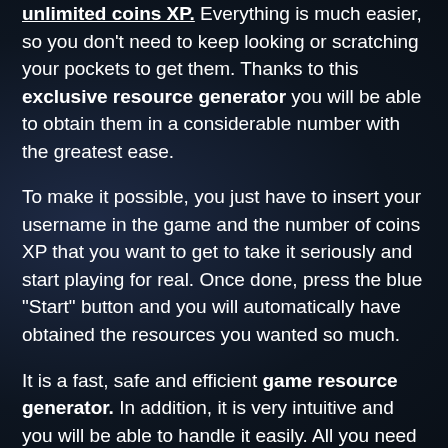unlimited coins XP. Everything is much easier, so you don't need to keep looking or scratching your pockets to get them. Thanks to this exclusive resource generator you will be able to obtain them in a considerable number with the greatest ease.
To make it possible, you just have to insert your username in the game and the number of coins XP that you want to get to take it seriously and start playing for real. Once done, press the blue "Start" button and you will automatically have obtained the resources you wanted so much.
It is a fast, safe and efficient game resource generator. In addition, it is very intuitive and you will be able to handle it easily. All you need is to add the data that we have indicated and you will start generating resources to enjoy your favorite game as soon as possible.
What are you waiting to do it? Start generating as many resources as you need and start enjoying Stickman Battle right now. If you like challenges and want to practice your skills as a player, this is the opportunity you have been